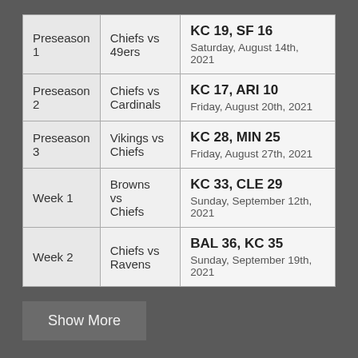|  | Matchup | Result |
| --- | --- | --- |
| Preseason 1 | Chiefs vs 49ers | KC 19, SF 16
Saturday, August 14th, 2021 |
| Preseason 2 | Chiefs vs Cardinals | KC 17, ARI 10
Friday, August 20th, 2021 |
| Preseason 3 | Vikings vs Chiefs | KC 28, MIN 25
Friday, August 27th, 2021 |
| Week 1 | Browns vs Chiefs | KC 33, CLE 29
Sunday, September 12th, 2021 |
| Week 2 | Chiefs vs Ravens | BAL 36, KC 35
Sunday, September 19th, 2021 |
Show More